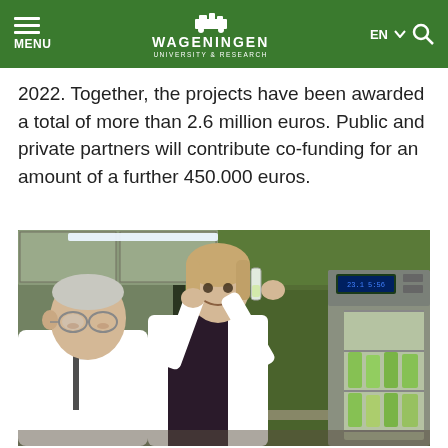MENU | WAGENINGEN UNIVERSITY & RESEARCH | EN | Search
2022. Together, the projects have been awarded a total of more than 2.6 million euros. Public and private partners will contribute co-funding for an amount of a further 450.000 euros.
[Figure (photo): Two researchers in white lab coats examining a small vial or sample in a laboratory setting with a refrigerator containing green plant samples visible on the right, and green walls in the background.]